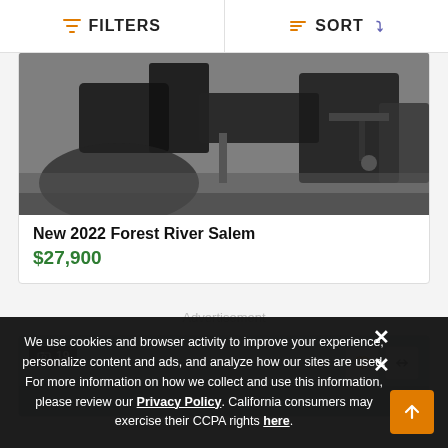FILTERS  SORT
[Figure (photo): Partial photo of a trailer hitch/tow equipment on gravel ground, dark machinery visible]
New 2022 Forest River Salem
$27,900
Advertisement
[Figure (photo): Second listing card with blue sky background, badge showing 19 photos, heart and compare action buttons]
We use cookies and browser activity to improve your experience, personalize content and ads, and analyze how our sites are used. For more information on how we collect and use this information, please review our Privacy Policy. California consumers may exercise their CCPA rights here.